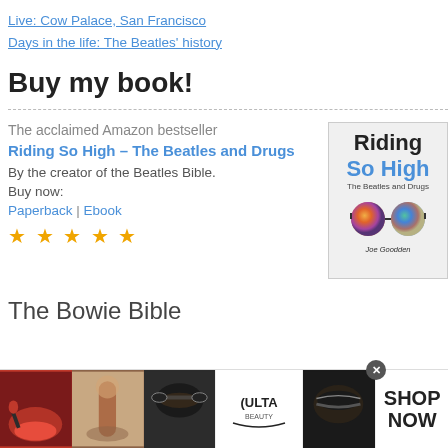Live: Cow Palace, San Francisco
Days in the life: The Beatles' history
Buy my book!
The acclaimed Amazon bestseller
Riding So High – The Beatles and Drugs
By the creator of the Beatles Bible.
Buy now:
Paperback | Ebook
★ ★ ★ ★ ★
[Figure (illustration): Book cover for Riding So High – The Beatles and Drugs by Joe Goodden, featuring colorful psychedelic sunglasses on a light background]
The Bowie Bible
[Figure (photo): Advertisement banner for Ulta Beauty featuring cosmetics/makeup imagery and SHOP NOW call to action]